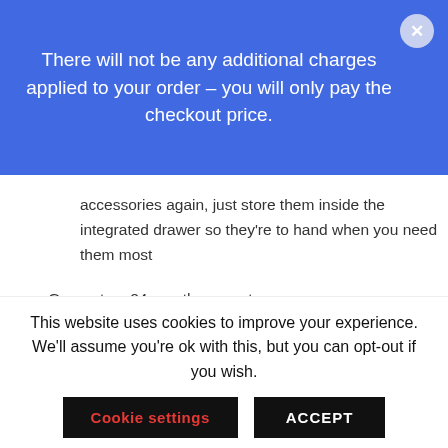There will not be any additional charges applied to your order – you will only pay the checkout price.
accessories again, just store them inside the integrated drawer so they're to hand when you need them most
Guarantee; 24-month guarantee
Colour
Choose an option
This website uses cookies to improve your experience. We'll assume you're ok with this, but you can opt-out if you wish.
Cookie settings
ACCEPT